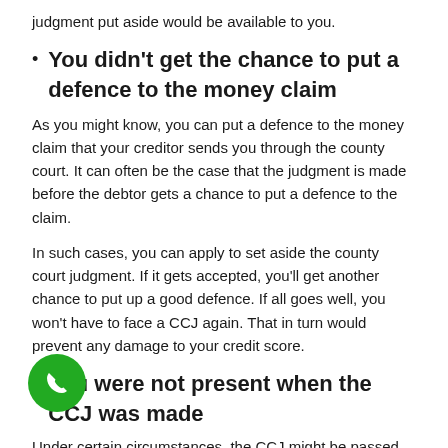judgment put aside would be available to you.
You didn't get the chance to put a defence to the money claim
As you might know, you can put a defence to the money claim that your creditor sends you through the county court. It can often be the case that the judgment is made before the debtor gets a chance to put a defence to the claim.
In such cases, you can apply to set aside the county court judgment. If it gets accepted, you'll get another chance to put up a good defence. If all goes well, you won't have to face a CCJ again. That in turn would prevent any damage to your credit score.
You were not present when the CCJ was made
Under certain circumstances, the CCJ might be passed when you were not present. In such a case, you have the right to disagree with the judgment. As such, it is quite a good reason to request the court to remove it. If you have faced such a situation, this option is open to you. An example of this case would be when a debtor is unable to attend the hearing for some reason. Though you must